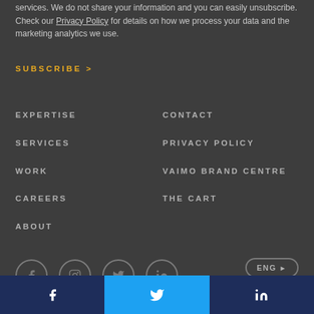services. We do not share your information and you can easily unsubscribe. Check our Privacy Policy for details on how we process your data and the marketing analytics we use.
SUBSCRIBE >
EXPERTISE
SERVICES
WORK
CAREERS
ABOUT
CONTACT
PRIVACY POLICY
VAIMO BRAND CENTRE
THE CART
[Figure (other): Social media icons: Facebook, Instagram, Twitter, LinkedIn circles, and ENG language selector button]
Facebook | Twitter | LinkedIn social share bar